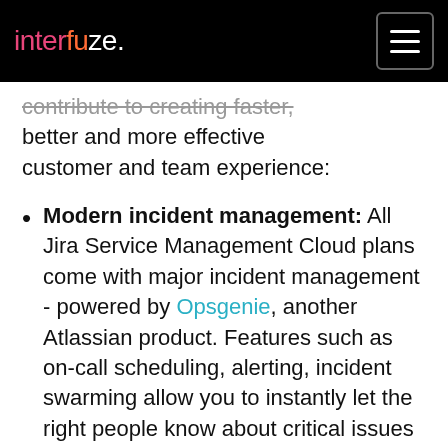interfuze.
contribute to creating faster, better and more effective customer and team experience:
Modern incident management: All Jira Service Management Cloud plans come with major incident management - powered by Opsgenie, another Atlassian product. Features such as on-call scheduling, alerting, incident swarming allow you to instantly let the right people know about critical issues while giving them the context